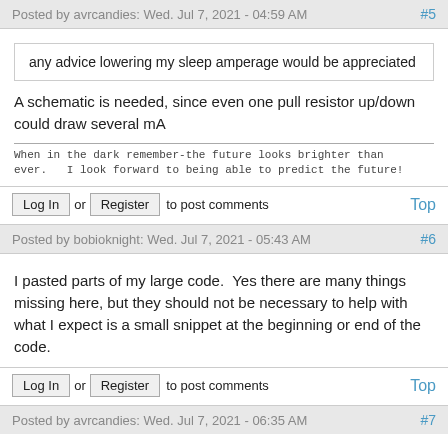Posted by avrcandies: Wed. Jul 7, 2021 - 04:59 AM  #5
any advice lowering my sleep amperage would be appreciated
A schematic is needed, since even one pull resistor up/down could draw several mA
When in the dark remember-the future looks brighter than ever.   I look forward to being able to predict the future!
Log In or Register to post comments  Top
Posted by bobioknight: Wed. Jul 7, 2021 - 05:43 AM  #6
I pasted parts of my large code.  Yes there are many things missing here, but they should not be necessary to help with what I expect is a small snippet at the beginning or end of the code.
Log In or Register to post comments  Top
Posted by avrcandies: Wed. Jul 7, 2021 - 06:35 AM  #7